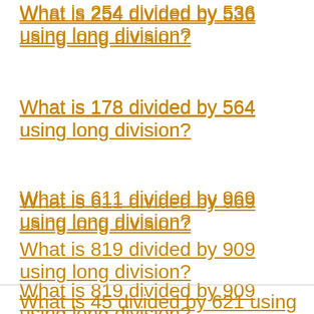What is 254 divided by 536 using long division?
What is 178 divided by 564 using long division?
What is 611 divided by 969 using long division?
What is 819 divided by 909 using long division?
What is 550 divided by 867 using long division?
What is 45 divided by 621 using long division?